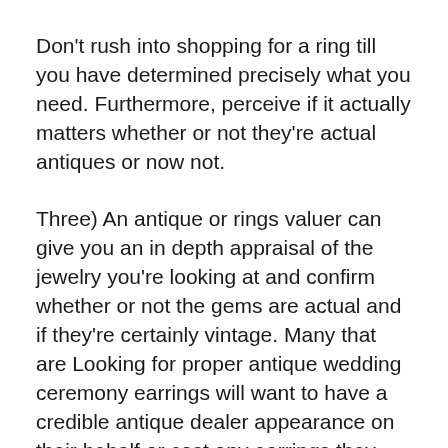Don't rush into shopping for a ring till you have determined precisely what you need. Furthermore, perceive if it actually matters whether or not they're actual antiques or now not.
Three) An antique or rings valuer can give you an in depth appraisal of the jewelry you're looking at and confirm whether or not the gems are actual and if they're certainly vintage. Many that are Looking for proper antique wedding ceremony earrings will want to have a credible antique dealer appearance on their behalf or cost any earrings they find.
You can also want to get an appraisal for